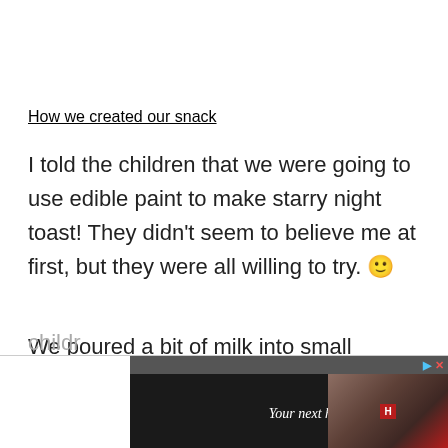How we created our snack
I told the children that we were going to use edible paint to make starry night toast! They didn't seem to believe me at first, but they were all willing to try. 🙂
We poured a bit of milk into small containers, then added a few drops of food coloring to each container. Then the painting began. The childr...
paint...ere so
[Figure (screenshot): Advertisement banner: 'Your next hotel is waiting for you' with hotel image and navigation buttons]